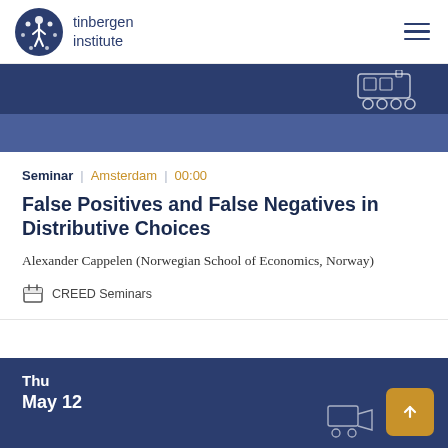tinbergen institute
[Figure (illustration): Tinbergen Institute logo — stylized person figure in dark blue circle]
[Figure (illustration): Dark blue hero banner with train/locomotive icon outline in upper right]
Seminar | Amsterdam | 00:00
False Positives and False Negatives in Distributive Choices
Alexander Cappelen (Norwegian School of Economics, Norway)
CREED Seminars
Thu
May 12